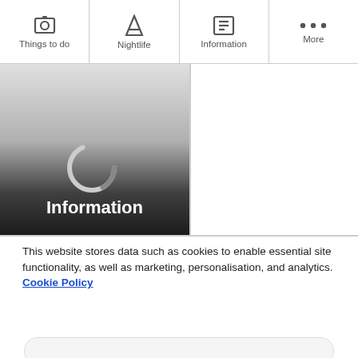Things to do | Nightlife | Information | More
[Figure (screenshot): A loading spinner (partial circle) over a gradient background fading from light grey to dark, with the word 'Information' in white bold text at the bottom of the image.]
This website stores data such as cookies to enable essential site functionality, as well as marketing, personalisation, and analytics. Cookie Policy
ACCEPT